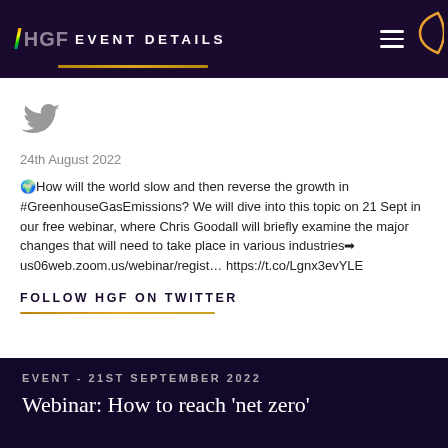EVENT DETAILS
[Figure (logo): Twitter bird icon in gray]
24th August 2022
🌍How will the world slow and then reverse the growth in #GreenhouseGasEmissions? We will dive into this topic on 21 Sept in our free webinar, where Chris Goodall will briefly examine the major changes that will need to take place in various industries➡ us06web.zoom.us/webinar/regist… https://t.co/Lgnx3evYLE
FOLLOW HGF ON TWITTER
EVENT - 21ST SEPTEMBER 2022
Webinar: How to reach 'net zero'